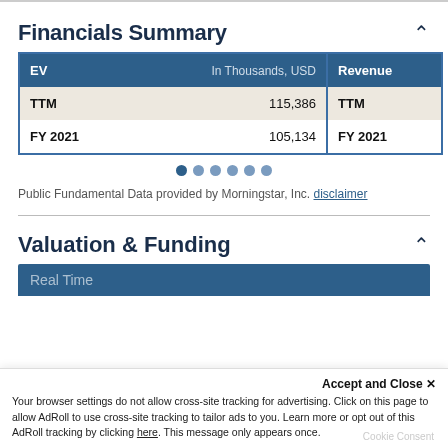Financials Summary
| EV | In Thousands, USD |
| --- | --- |
| TTM | 115,386 |
| FY 2021 | 105,134 |
| Revenue |
| --- |
| TTM |  |
| FY 2021 |  |
Public Fundamental Data provided by Morningstar, Inc. disclaimer
Valuation & Funding
Real Time
Accept and Close ×
Your browser settings do not allow cross-site tracking for advertising. Click on this page to allow AdRoll to use cross-site tracking to tailor ads to you. Learn more or opt out of this AdRoll tracking by clicking here. This message only appears once.